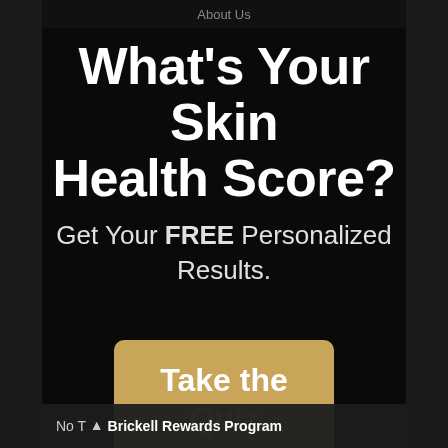About Us
What's Your Skin Health Score?
Get Your FREE Personalized Results.
Take the Quiz
No T  ▲ Brickell Rewards Program